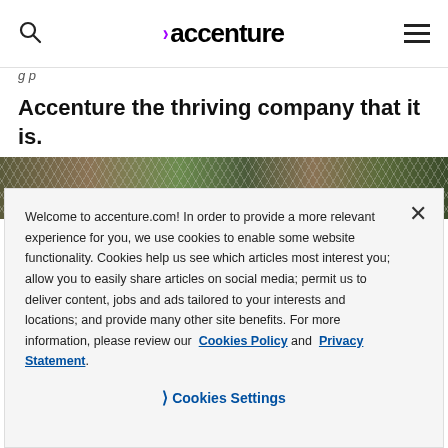accenture (logo with purple chevron), search icon, hamburger menu
Accenture the thriving company that it is.
[Figure (photo): Photo strip showing a wire mesh fence with green foliage and earth-toned background]
Welcome to accenture.com! In order to provide a more relevant experience for you, we use cookies to enable some website functionality. Cookies help us see which articles most interest you; allow you to easily share articles on social media; permit us to deliver content, jobs and ads tailored to your interests and locations; and provide many other site benefits. For more information, please review our Cookies Policy and Privacy Statement.
Cookies Settings